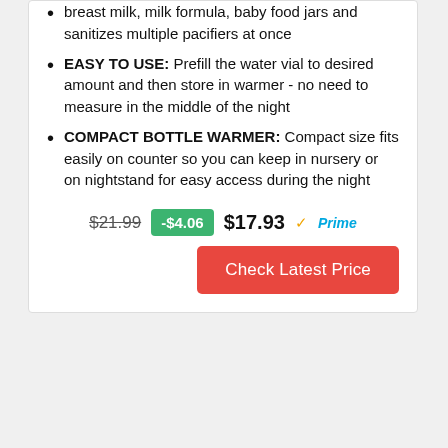breast milk, milk formula, baby food jars and sanitizes multiple pacifiers at once
EASY TO USE: Prefill the water vial to desired amount and then store in warmer - no need to measure in the middle of the night
COMPACT BOTTLE WARMER: Compact size fits easily on counter so you can keep in nursery or on nightstand for easy access during the night
$21.99  -$4.06  $17.93  Prime
Check Latest Price